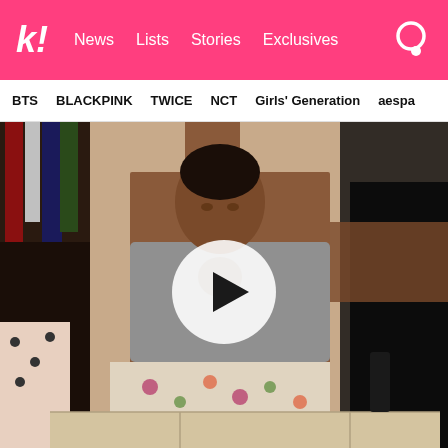k! News Lists Stories Exclusives
BTS BLACKPINK TWICE NCT Girls' Generation aespa
[Figure (screenshot): Video thumbnail showing a person dancing with a play button overlay. The person appears to be in a room with clothes hanging. They are wearing a gray crop top and floral shorts with arms raised.]